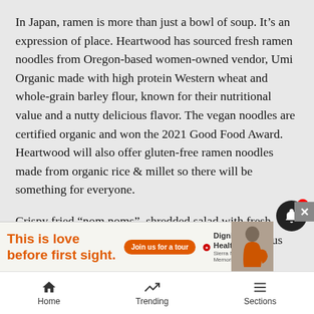In Japan, ramen is more than just a bowl of soup. It's an expression of place. Heartwood has sourced fresh ramen noodles from Oregon-based women-owned vendor, Umi Organic made with high protein Western wheat and whole-grain barley flour, known for their nutritional value and a nutty delicious flavor. The vegan noodles are certified organic and won the 2021 Good Food Award. Heartwood will also offer gluten-free ramen noodles made from organic rice & millet so there will be something for everyone.
Crispy fried “nom noms”, shredded salad with fresh herbs and a “Three Muses” ferment sampler plate plus sweet treats like pumpkin sesame mochi cake or sesam... round...
[Figure (screenshot): Advertisement banner for Dignity Health Sierra Nevada Memorial Hospital with text 'This is love before first sight.' in orange, a 'Join us for a tour' button, Dignity Health logo, and a photo of a woman sitting.]
[Figure (screenshot): Bell notification icon (dark circle) with a red badge showing the number 4, and a close X button in grey.]
Home   Trending   Sections